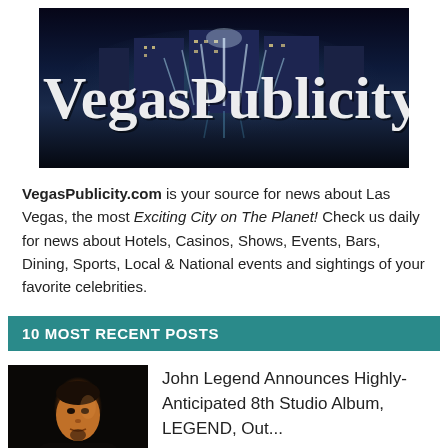[Figure (logo): VegasPublicity logo banner — text 'VegasPublicity' in large white serif font overlaid on a night photo of the Bellagio fountains in Las Vegas]
VegasPublicity.com is your source for news about Las Vegas, the most Exciting City on The Planet! Check us daily for news about Hotels, Casinos, Shows, Events, Bars, Dining, Sports, Local & National events and sightings of your favorite celebrities.
10 MOST RECENT POSTS
[Figure (photo): Dark portrait photo of John Legend with dramatic lighting showing his face]
John Legend Announces Highly-Anticipated 8th Studio Album, LEGEND, Out...